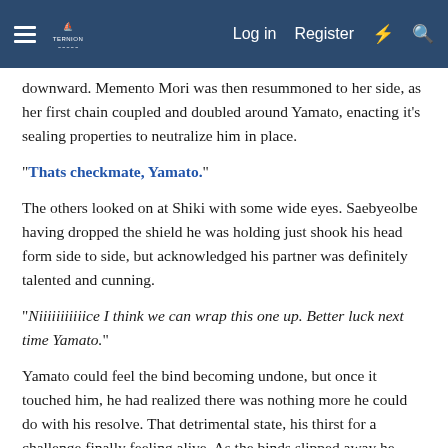☰ [Logo] Log in  Register  ⚡ 🔍
downward. Memento Mori was then resummoned to her side, as her first chain coupled and doubled around Yamato, enacting it's sealing properties to neutralize him in place.
"Thats checkmate, Yamato."
The others looked on at Shiki with some wide eyes. Saebyeolbe having dropped the shield he was holding just shook his head form side to side, but acknowledged his partner was definitely talented and cunning.
"Niiiiiiiiiiice I think we can wrap this one up. Better luck next time Yamato."
Yamato could feel the bind becoming undone, but once it touched him, he had realized there was nothing more he could do with his resolve. That detrimental state, his thirst for a challenge finally feeling alive. As the binds slipped away he approached Shiki and gave a bit of an over-hearing embrace to which she fidgeted in shock.